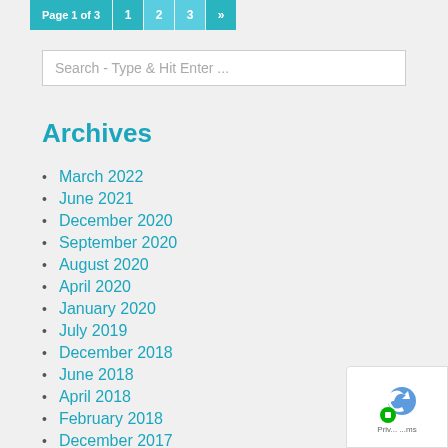Page 1 of 3  1  2  3  »
Search - Type & Hit Enter ...
Archives
March 2022
June 2021
December 2020
September 2020
August 2020
April 2020
January 2020
July 2019
December 2018
June 2018
April 2018
February 2018
December 2017
November 2017